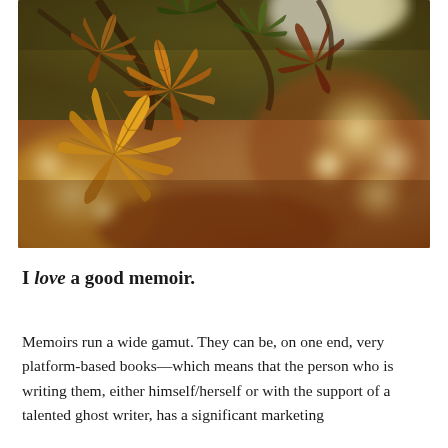[Figure (photo): Close-up photograph of autumn maple leaves in warm orange and yellow tones, hanging from branches with a soft bokeh background of blurred light circles in golden and brown hues.]
I love a good memoir.
Memoirs run a wide gamut. They can be, on one end, very platform-based books—which means that the person who is writing them, either himself/herself or with the support of a talented ghost writer, has a significant marketing